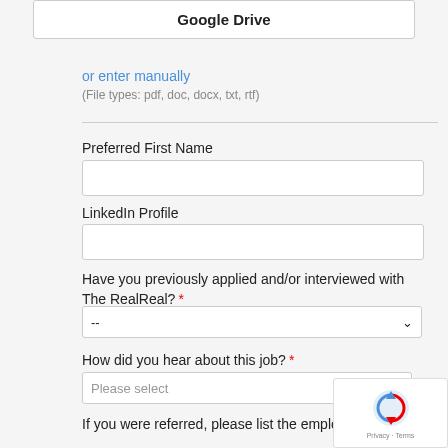Google Drive
or enter manually
(File types: pdf, doc, docx, txt, rtf)
Preferred First Name
LinkedIn Profile
Have you previously applied and/or interviewed with The RealReal? *
-- (dropdown)
How did you hear about this job? *
Please select (dropdown)
If you were referred, please list the employee name.